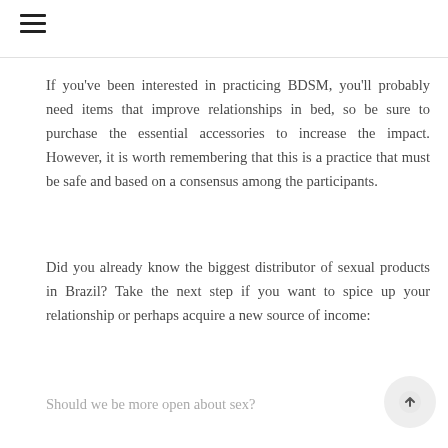≡
If you've been interested in practicing BDSM, you'll probably need items that improve relationships in bed, so be sure to purchase the essential accessories to increase the impact. However, it is worth remembering that this is a practice that must be safe and based on a consensus among the participants.
Did you already know the biggest distributor of sexual products in Brazil? Take the next step if you want to spice up your relationship or perhaps acquire a new source of income:
Should we be more open about sex?
[Figure (photo): Partial photo of a person with a teal/blue fabric, dark background, partially visible at bottom of page]